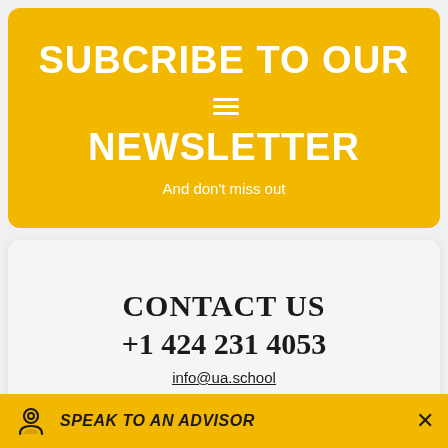SUBCRIBE TO OUR NEWSLETTER
And don't miss out
CONTACT US
+1 424 231 4053
info@ua.school
SPEAK TO AN ADVISOR